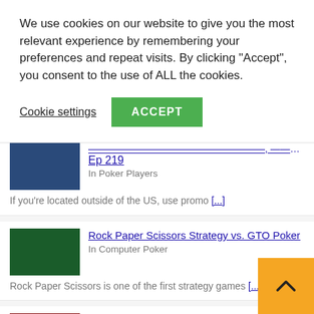We use cookies on our website to give you the most relevant experience by remembering your preferences and repeat visits. By clicking "Accept", you consent to the use of ALL the cookies.
Cookie settings  ACCEPT
Ep 219 | In Poker Players | If you're located outside of the US, use promo [...]
Rock Paper Scissors Strategy vs. GTO Poker | In Computer Poker | Rock Paper Scissors is one of the first strategy games [...]
Betting $30,000 on the River | Poker Vlog #1... | In Poker Players | In this video, I play another private poker game